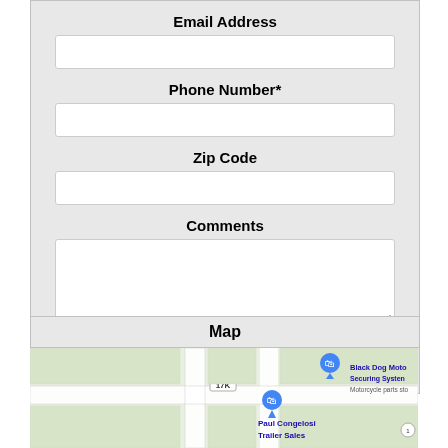Email Address
Phone Number*
Zip Code
Comments
Submit
Map
[Figure (map): Google Maps embed showing location of Black Dog Moto Securing System (Motorcycle parts store) and Paul Congelosi Trailer Sales, with route 17K visible]